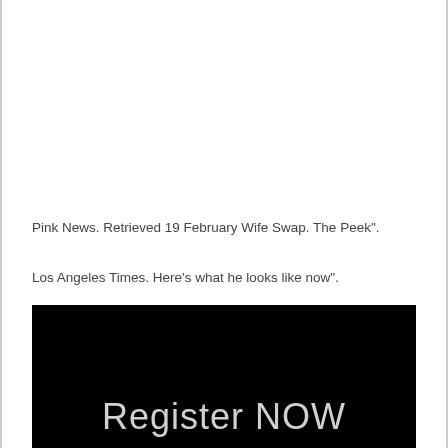Pink News. Retrieved 19 February Wife Swap. The Peek".
Los Angeles Times. Here's what he looks like now".
[Figure (screenshot): Black background image with large light gray text reading 'Register NOW']